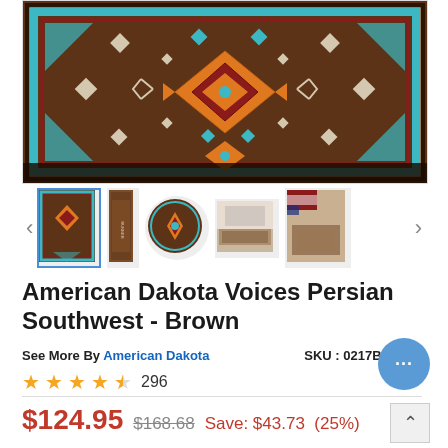[Figure (photo): Southwest/Persian style rug with brown background, turquoise border, red and orange geometric diamond medallion pattern in center, decorative geometric motifs throughout]
[Figure (photo): Thumbnail gallery row showing 5 product images: rectangular rug (selected), runner rug tall, round rug, lifestyle room photo, lifestyle room with flag photo]
American Dakota Voices Persian Southwest - Brown
See More By American Dakota    SKU : 0217BRN234
★★★★½ 296
$124.95  $168.68  Save: $43.73  (25%)